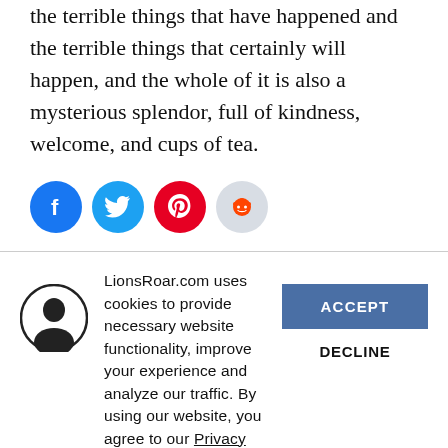the terrible things that have happened and the terrible things that certainly will happen, and the whole of it is also a mysterious splendor, full of kindness, welcome, and cups of tea.
[Figure (other): Row of four social sharing icon buttons: Facebook (blue circle), Twitter (blue circle), Pinterest (red circle), Reddit (light grey circle)]
LionsRoar.com uses cookies to provide necessary website functionality, improve your experience and analyze our traffic. By using our website, you agree to our Privacy Policy and our cookies usage.